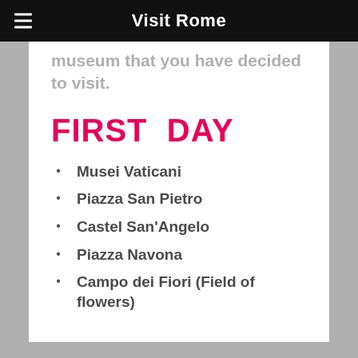Visit Rome
museum that you have decided to visit.
FIRST DAY
Musei Vaticani
Piazza San Pietro
Castel San'Angelo
Piazza Navona
Campo dei Fiori (Field of flowers)